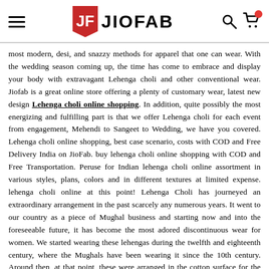JIOFAB
most modern, desi, and snazzy methods for apparel that one can wear. With the wedding season coming up, the time has come to embrace and display your body with extravagant Lehenga choli and other conventional wear. Jiofab is a great online store offering a plenty of customary wear, latest new design Lehenga choli online shopping. In addition, quite possibly the most energizing and fulfilling part is that we offer Lehenga choli for each event from engagement, Mehendi to Sangeet to Wedding, we have you covered. Lehenga choli online shopping, best case scenario, costs with COD and Free Delivery India on JioFab. buy lehenga choli online shopping with COD and Free Transportation. Peruse for Indian lehenga choli online assortment in various styles, plans, colors and in different textures at limited expense. lehenga choli online at this point! Lehenga Choli has journeyed an extraordinary arrangement in the past scarcely any numerous years. It went to our country as a piece of Mughal business and starting now and into the foreseeable future, it has become the most adored discontinuous wear for women. We started wearing these lehengas during the twelfth and eighteenth century, where the Mughals have been wearing it since the 10th century. Around then, at that point, these were arranged in the cotton surface for the general population and the silk and brocade textures for royals.